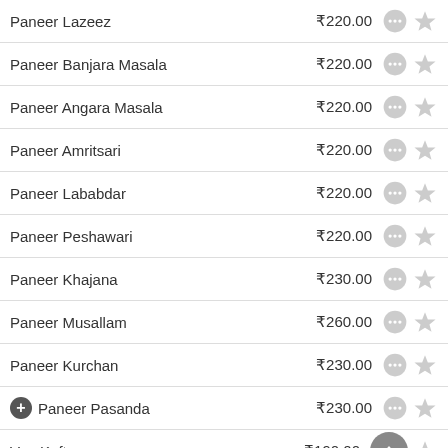Paneer Lazeez ₹220.00
Paneer Banjara Masala ₹220.00
Paneer Angara Masala ₹220.00
Paneer Amritsari ₹220.00
Paneer Lababdar ₹220.00
Paneer Peshawari ₹220.00
Paneer Khajana ₹230.00
Paneer Musallam ₹260.00
Paneer Kurchan ₹230.00
Paneer Pasanda ₹230.00
Veg Kofta ₹190.00
Kaju Curry ₹230.00